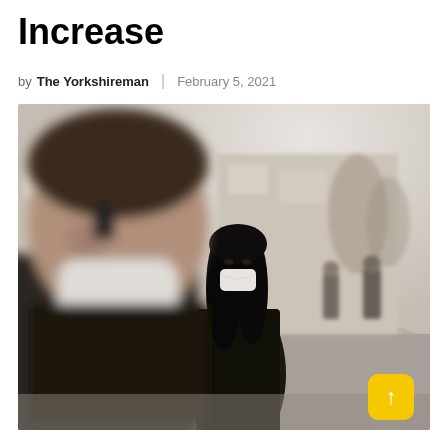Increase
by The Yorkshireman | February 5, 2021
[Figure (photo): Street scene showing people wearing face masks outdoors in an urban setting. A blurred man in the foreground holds a phone to his ear while wearing a white face mask. In focus behind him, a woman with long dark hair wearing a black jacket and white face mask walks toward the camera. In the background, other pedestrians and a car are visible on a city street with buildings and bare trees. A yellow button with an upward arrow is overlaid in the bottom right corner of the image.]